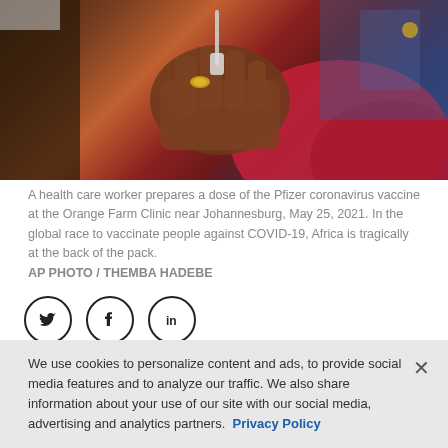[Figure (photo): Close-up photo of a health care worker's hands preparing a dose of the Pfizer coronavirus vaccine. The person is wearing a red/magenta sweater and a gold ring. The background shows a blue and white medical setting.]
A health care worker prepares a dose of the Pfizer coronavirus vaccine at the Orange Farm Clinic near Johannesburg, May 25, 2021. In the global race to vaccinate people against COVID-19, Africa is tragically at the back of the pack. AP PHOTO / THEMBA HADEBE
[Figure (infographic): Social media share icons: Twitter (bird), Facebook (f), LinkedIn (in) — each inside a circle outline]
Cape Town, South Africa-based sports writer
We use cookies to personalize content and ads, to provide social media features and to analyze our traffic. We also share information about your use of our site with our social media, advertising and analytics partners.  Privacy Policy